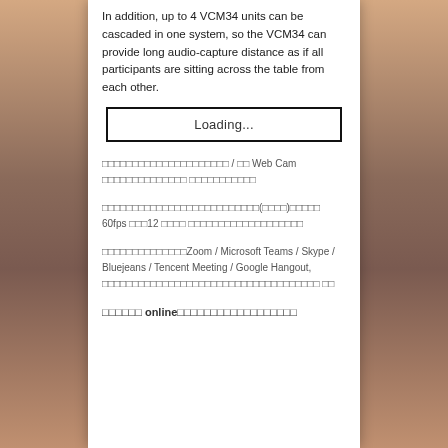In addition, up to 4 VCM34 units can be cascaded in one system, so the VCM34 can provide long audio-capture distance as if all participants are sitting across the table from each other.
[Figure (other): Loading... placeholder box]
□□□□□□□□□□□□□□□□□□□□□ / □□ Web Cam □□□□□□□□□□□□□□ □□□□□□□□□□□
□□□□□□□□□□□□□□□□□□□□□□□□□□(□□□□)□□□□□ 60fps □□□12 □□□□ □□□□□□□□□□□□□□□□□□□
□□□□□□□□□□□□□□Zoom / Microsoft Teams / Skype / Bluejeans / Tencent Meeting / Google Hangout, □□□□□□□□□□□□□□□□□□□□□□□□□□□□□□□□□□□□□
□□□□□□ online□□□□□□□□□□□□□□□□□□